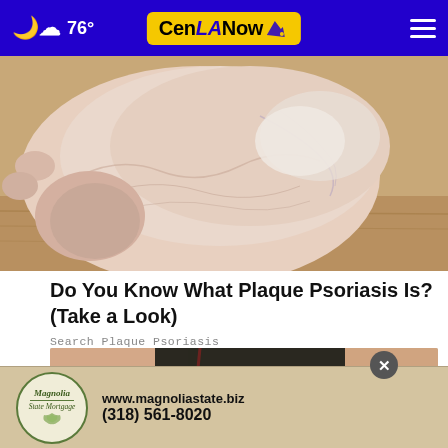76° CenLA Now
[Figure (photo): Close-up photo of a human foot/ankle showing dry, scaly skin associated with plaque psoriasis, with a wooden floor visible in the background.]
Do You Know What Plaque Psoriasis Is? (Take a Look)
Search Plaque Psoriasis
[Figure (photo): Partial photo of a person in dark shorts, appears to be scratching or touching their leg/knee area.]
[Figure (other): Advertisement banner for Magnolia State Mortgage showing circular logo with floral design, website www.magnoliastate.biz and phone number (318) 561-8020]